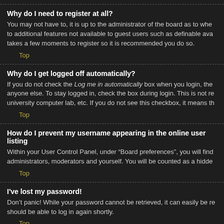Why do I need to register at all?
You may not have to, it is up to the administrator of the board as to whe to additional features not available to guest users such as definable ava takes a few moments to register so it is recommended you do so.
Top
Why do I get logged off automatically?
If you do not check the Log me in automatically box when you login, the anyone else. To stay logged in, check the box during login. This is not re university computer lab, etc. If you do not see this checkbox, it means th
Top
How do I prevent my username appearing in the online user listing
Within your User Control Panel, under “Board preferences”, you will find administrators, moderators and yourself. You will be counted as a hidde
Top
I've lost my password!
Don’t panic! While your password cannot be retrieved, it can easily be re should be able to log in again shortly.
Top